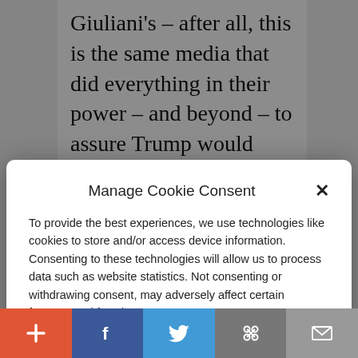Giuliani's – after all, this is the same media that did everything in their power – and beyond – to assure Trump would
Manage Cookie Consent
To provide the best experiences, we use technologies like cookies to store and/or access device information. Consenting to these technologies will allow us to process data such as website statistics. Not consenting or withdrawing consent, may adversely affect certain features and functions.
Accept
Cookie Policy  Privacy Policy
mirror and accept that, despite their best